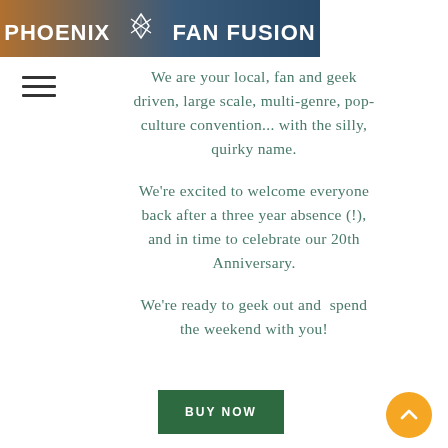[Figure (logo): Phoenix Fan Fusion banner header with orange-to-blue gradient background, showing 'PHOENIX FAN FUSION' text in white bold uppercase with a bird/phoenix logo emblem in the center]
[Figure (other): Hamburger menu icon (three horizontal lines) on the left side]
We are your local, fan and geek driven, large scale, multi-genre, pop-culture convention... with the silly, quirky name.
We're excited to welcome everyone back after a three year absence (!), and in time to celebrate our 20th Anniversary.
We're ready to geek out and  spend the weekend with you!
[Figure (other): Green rectangular 'BUY NOW' button]
[Figure (other): Orange circular scroll-to-top button with upward chevron arrow]